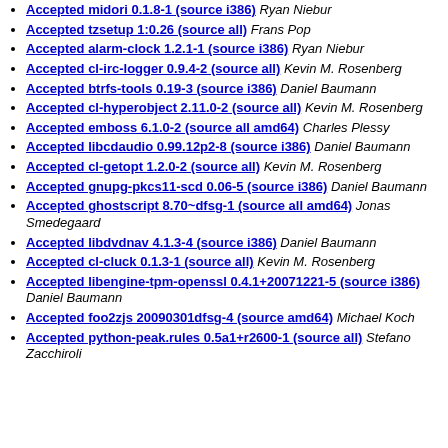Accepted midori 0.1.8-1 (source i386) Ryan Niebur
Accepted tzsetup 1:0.26 (source all) Frans Pop
Accepted alarm-clock 1.2.1-1 (source i386) Ryan Niebur
Accepted cl-irc-logger 0.9.4-2 (source all) Kevin M. Rosenberg
Accepted btrfs-tools 0.19-3 (source i386) Daniel Baumann
Accepted cl-hyperobject 2.11.0-2 (source all) Kevin M. Rosenberg
Accepted emboss 6.1.0-2 (source all amd64) Charles Plessy
Accepted libcdaudio 0.99.12p2-8 (source i386) Daniel Baumann
Accepted cl-getopt 1.2.0-2 (source all) Kevin M. Rosenberg
Accepted gnupg-pkcs11-scd 0.06-5 (source i386) Daniel Baumann
Accepted ghostscript 8.70~dfsg-1 (source all amd64) Jonas Smedegaard
Accepted libdvdnav 4.1.3-4 (source i386) Daniel Baumann
Accepted cl-cluck 0.1.3-1 (source all) Kevin M. Rosenberg
Accepted libengine-tpm-openssl 0.4.1+20071221-5 (source i386) Daniel Baumann
Accepted foo2zjs 20090301dfsg-4 (source amd64) Michael Koch
Accepted python-peak.rules 0.5a1+r2600-1 (source all) Stefano Zacchiroli